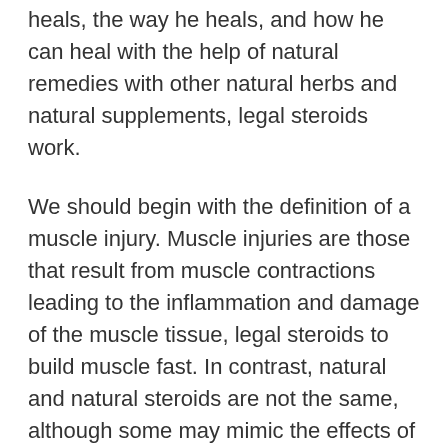heals, the way he heals, and how he can heal with the help of natural remedies with other natural herbs and natural supplements, legal steroids work.
We should begin with the definition of a muscle injury. Muscle injuries are those that result from muscle contractions leading to the inflammation and damage of the muscle tissue, legal steroids to build muscle fast. In contrast, natural and natural steroids are not the same, although some may mimic the effects of steroids while other natural supplements can actually reduce or eliminate some of the side effects. A muscle injury is the tissue damage and inflammation that results from normal movement of your body and the associated inflammation surrounding this damage is what is commonly referred to by the medical